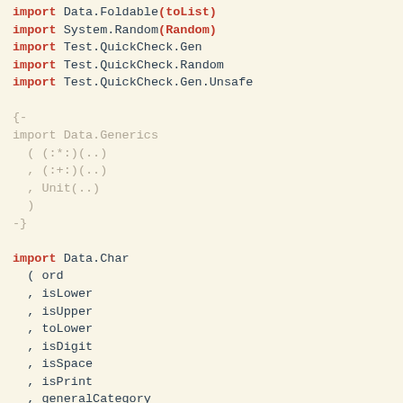import Data.Foldable(toList)
import System.Random(Random)
import Test.QuickCheck.Gen
import Test.QuickCheck.Random
import Test.QuickCheck.Gen.Unsafe

{-
import Data.Generics
  ( (:*:)(..)
  , (:+:)(..)
  , Unit(..)
  )
-}

import Data.Char
  ( ord
  , isLower
  , isUpper
  , toLower
  , isDigit
  , isSpace
  , isPrint
  , generalCategory
  , GeneralCategory(..)
  )

#ifndef NO_FIXED
import Data.Fixed
  ( Fixed
    HasResolution